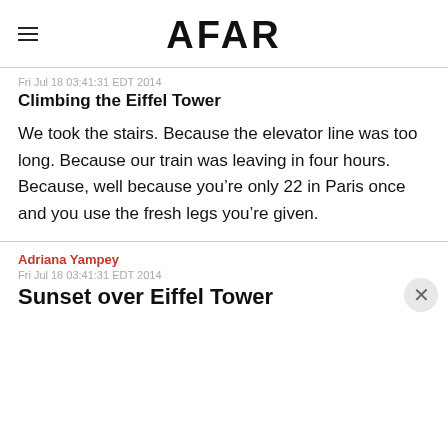AFAR
Fri Jul 18 03:41:31 EDT 2014
Climbing the Eiffel Tower
We took the stairs. Because the elevator line was too long. Because our train was leaving in four hours. Because, well because you’re only 22 in Paris once and you use the fresh legs you’re given.
Adriana Yampey
Fri Jul 18 03:41:31 EDT 2014
Sunset over Eiffel Tower